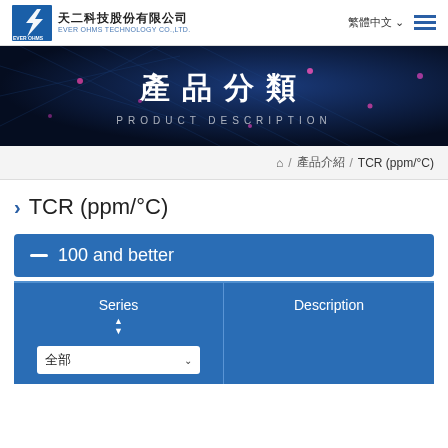天二科技股份有限公司 EVER OHMS TECHNOLOGY CO.,LTD. 繁體中文
[Figure (screenshot): Banner with Chinese text 產品分類 and English PRODUCT DESCRIPTION on dark blue circuit background]
🏠 / 產品介紹 / TCR (ppm/°C)
TCR (ppm/°C)
100 and better
| Series | Description |
| --- | --- |
| 全部 |  |